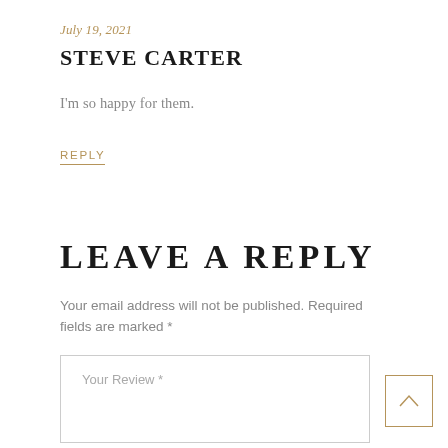July 19, 2021
STEVE CARTER
I'm so happy for them.
REPLY
LEAVE A REPLY
Your email address will not be published. Required fields are marked *
Your Review *